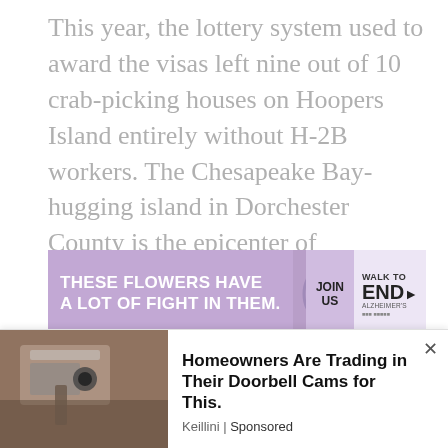This year, the lottery system used to award the visas left nine out of 10 crab-picking houses on Hoopers Island entirely without H-2B workers. The Chesapeake Bay-hugging island in Dorchester County is the epicenter of Maryland's crab-picking industry.
[Figure (other): Advertisement banner for Alzheimer's Association Walk to End Alzheimer's. Purple background with text 'THESE FLOWERS HAVE A LOT OF FIGHT IN THEM.' on the left, a photo of a smiling woman with purple flowers in the middle, 'JOIN US' button, and 'WALK TO END ALZHEIMER'S' logo with arrow on the right.]
Altogether the island's crab-picking houses typically need 500–600 seasonal workers each
[Figure (other): Bottom advertisement showing a security camera mounted on a brick wall on the left, and text 'Homeowners Are Trading in Their Doorbell Cams for This.' with source 'Keillini | Sponsored' on the right. Has a close (X) button.]